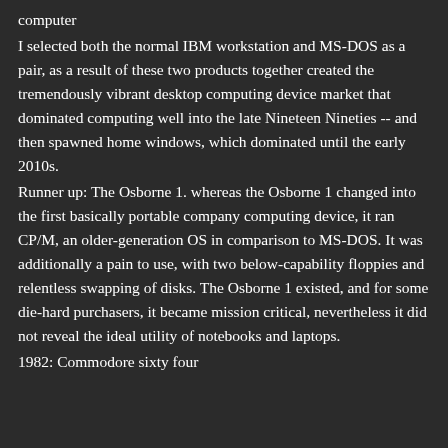computer
I selected both the normal IBM workstation and MS-DOS as a pair, as a result of these two products together created the tremendously vibrant desktop computing device market that dominated computing well into the late Nineteen Nineties -- and then spawned home windows, which dominated until the early 2010s.
Runner up: The Osborne 1. whereas the Osborne 1 changed into the first basically portable company computing device, it ran CP/M, an older-generation OS in comparison to MS-DOS. It was additionally a pain to use, with two below-capability floppies and relentless swapping of disks. The Osborne 1 existed, and for some die-hard purchasers, it became mission critical, nevertheless it did not reveal the ideal utility of notebooks and laptops.
1982: Commodore sixty four